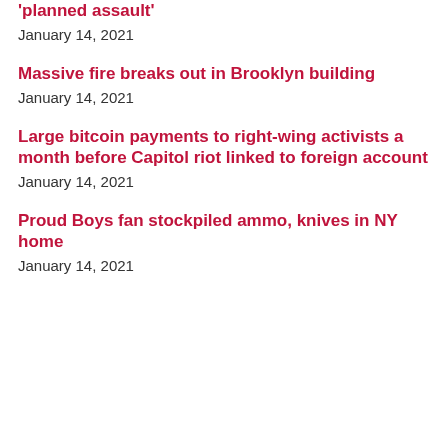'planned assault'
January 14, 2021
Massive fire breaks out in Brooklyn building
January 14, 2021
Large bitcoin payments to right-wing activists a month before Capitol riot linked to foreign account
January 14, 2021
Proud Boys fan stockpiled ammo, knives in NY home
January 14, 2021